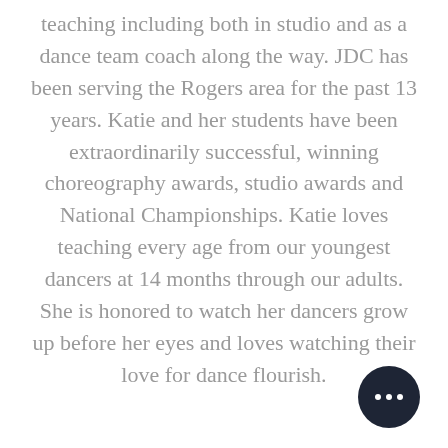teaching including both in studio and as a dance team coach along the way. JDC has been serving the Rogers area for the past 13 years. Katie and her students have been extraordinarily successful, winning choreography awards, studio awards and National Championships. Katie loves teaching every age from our youngest dancers at 14 months through our adults. She is honored to watch her dancers grow up before her eyes and loves watching their love for dance flourish.
[Figure (other): Dark circular button with three white dots (ellipsis/more options button) in the bottom right corner]